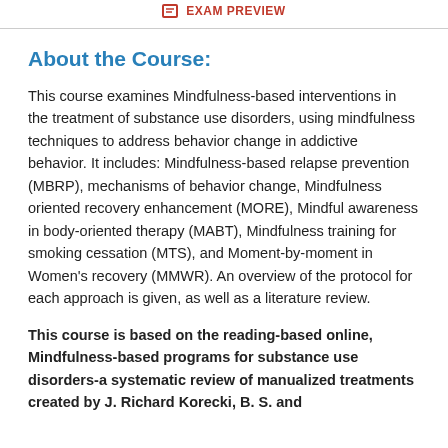EXAM PREVIEW
About the Course:
This course examines Mindfulness-based interventions in the treatment of substance use disorders, using mindfulness techniques to address behavior change in addictive behavior. It includes: Mindfulness-based relapse prevention (MBRP), mechanisms of behavior change, Mindfulness oriented recovery enhancement (MORE), Mindful awareness in body-oriented therapy (MABT), Mindfulness training for smoking cessation (MTS), and Moment-by-moment in Women's recovery (MMWR). An overview of the protocol for each approach is given, as well as a literature review.
This course is based on the reading-based online, Mindfulness-based programs for substance use disorders-a systematic review of manualized treatments created by J. Richard Korecki, B. S. and